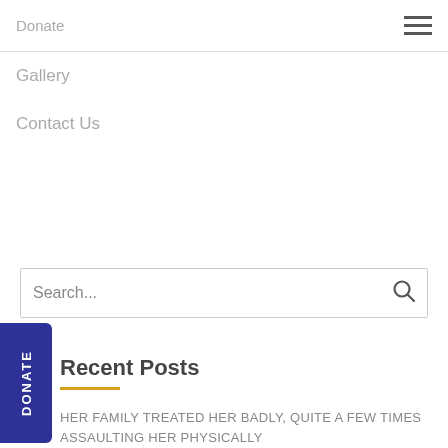Donate
Gallery
Contact Us
Search...
DONATE
Recent Posts
HER FAMILY TREATED HER BADLY, QUITE A FEW TIMES ASSAULTING HER PHYSICALLY